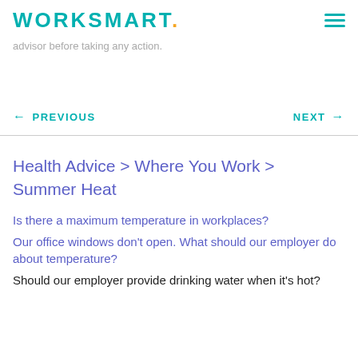WORKSMART.
advisor before taking any action.
← PREVIOUS    NEXT →
Health Advice > Where You Work > Summer Heat
Is there a maximum temperature in workplaces?
Our office windows don't open. What should our employer do about temperature?
Should our employer provide drinking water when it's hot?